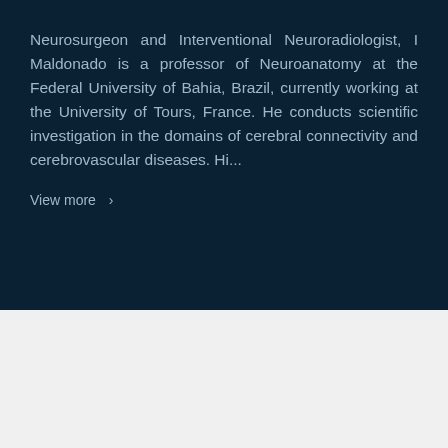Neurosurgeon and Interventional Neuroradiologist, I Maldonado is a professor of Neuroanatomy at the Federal University of Bahia, Brazil, currently working at the University of Tours, France. He conducts scientific investigation in the domains of cerebral connectivity and cerebrovascular diseases. Hi...
View more >
[Figure (other): Yellow/orange rectangular card element at the bottom of the page on a light grey background]